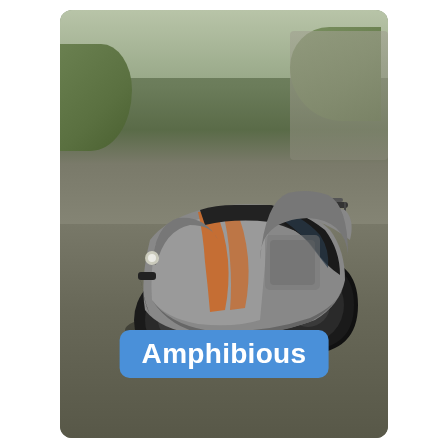[Figure (illustration): A 3D rendered off-road amphibious vehicle (buggy/truck hybrid) with large knobby tires, silver and black body with orange accent stripes, floating slightly above a grey-green ground surface. Background shows grass mounds and a wall structure. A blue rounded-rectangle label at the bottom reads 'Amphibious' in white bold text.]
Amphibious